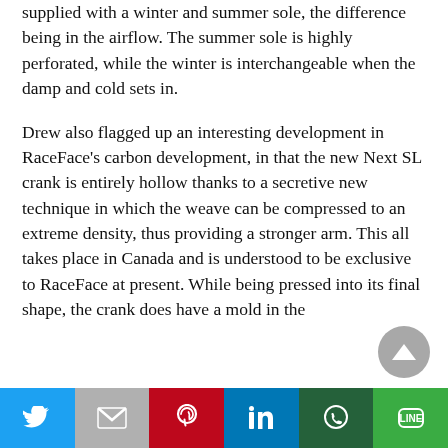supplied with a winter and summer sole, the difference being in the airflow. The summer sole is highly perforated, while the winter is interchangeable when the damp and cold sets in.
Drew also flagged up an interesting development in RaceFace's carbon development, in that the new Next SL crank is entirely hollow thanks to a secretive new technique in which the weave can be compressed to an extreme density, thus providing a stronger arm. This all takes place in Canada and is understood to be exclusive to RaceFace at present. While being pressed into its final shape, the crank does have a mold in the
[Figure (other): Social share bar with Twitter, Gmail/email (M), Pinterest, LinkedIn, WhatsApp, and LINE buttons]